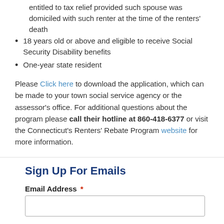entitled to tax relief provided such spouse was domiciled with such renter at the time of the renters' death
18 years old or above and eligible to receive Social Security Disability benefits
One-year state resident
Please Click here to download the application, which can be made to your town social service agency or the assessor's office. For additional questions about the program please call their hotline at 860-418-6377 or visit the Connecticut's Renters' Rebate Program website for more information.
Sign Up For Emails
Email Address *
First Name